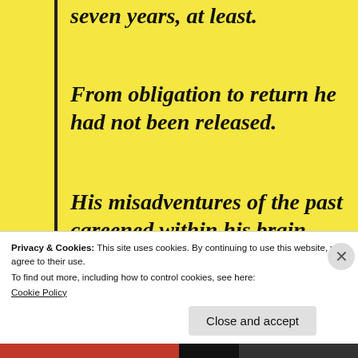seven years, at least.
From obligation to return he had not been released.
His misadventures of the past careened within his brain.
He’d seen enough of tragedy to drive
Privacy & Cookies: This site uses cookies. By continuing to use this website, you agree to their use.
To find out more, including how to control cookies, see here:
Cookie Policy
Close and accept